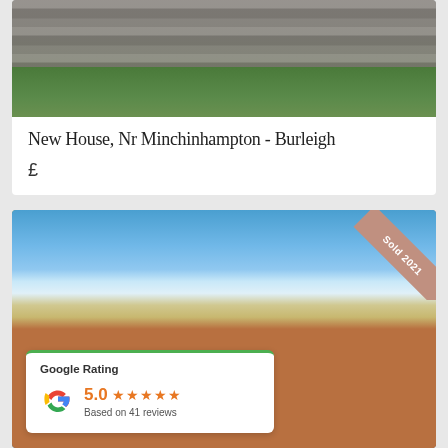[Figure (photo): Photo of a stone wall with grass/vegetation below, partial view cropped at top of card]
New House, Nr Minchinhampton - Burleigh
£
[Figure (photo): Photo of a modern wooden house with dormer windows, glass balcony railing, blue sky background. 'Sold 2021' banner in top-right corner. Google Rating widget overlaid: 5.0 stars, Based on 41 reviews.]